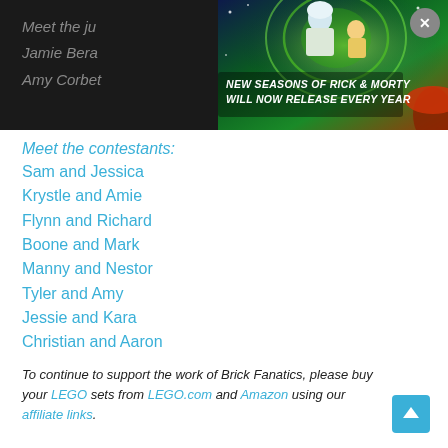[Figure (screenshot): Dark top bar showing partially visible text 'Meet the ju...' and names 'Jamie Bera...' and 'Amy Corbe...' with an animated advertisement overlay for Rick and Morty featuring characters and text 'NEW SEASONS OF RICK & MORTY WILL NOW RELEASE EVERY YEAR' with a close (X) button]
Meet the contestants:
Sam and Jessica
Krystle and Amie
Flynn and Richard
Boone and Mark
Manny and Nestor
Tyler and Amy
Jessie and Kara
Christian and Aaron
To continue to support the work of Brick Fanatics, please buy your LEGO sets from LEGO.com and Amazon using our affiliate links.